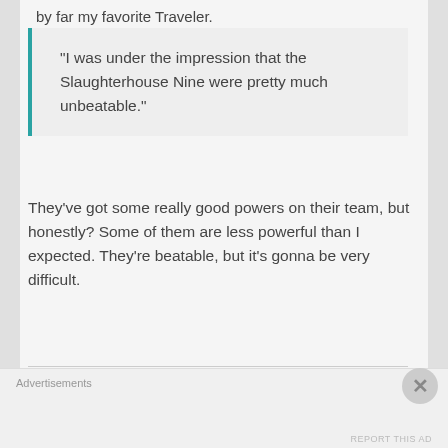by far my favorite Traveler.
“I was under the impression that the Slaughterhouse Nine were pretty much unbeatable.”
They’ve got some really good powers on their team, but honestly? Some of them are less powerful than I expected. They’re beatable, but it’s gonna be very difficult.
“No,” Brian said.  “Some of them, maybe, but others are as vulnerable as you or me.
Advertisements